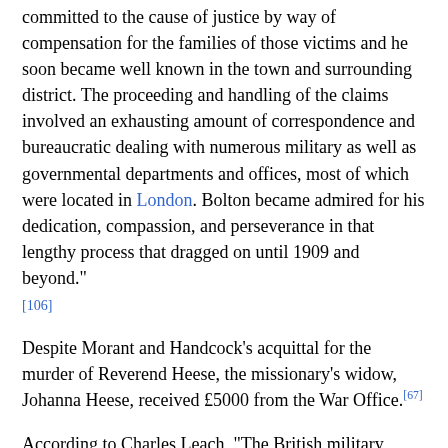...and Solicitor Saunders himself was deeply committed to the cause of justice by way of compensation for the families of those victims and he soon became well known in the town and surrounding district. The proceeding and handling of the claims involved an exhausting amount of correspondence and bureaucratic dealing with numerous military as well as governmental departments and offices, most of which were located in London. Bolton became admired for his dedication, compassion, and perseverance in that lengthy process that dragged on until 1909 and beyond."[106]
Despite Morant and Handcock's acquittal for the murder of Reverend Heese, the missionary's widow, Johanna Heese, received £5000 from the War Office.[67]
According to Charles Leach, "The British military authorities granted compensation to Mrs. Heese for the death of her husband despite the court finding Handcock not guilty. Surely this is also an 'admission' that the killer was a British soldier? That Handcock was found not guilty by the court for the shooting of both Reverend Heese and his driver was perhaps due to a proper, professional investigation into the murder. The finding of not guilty will never in itself absolve